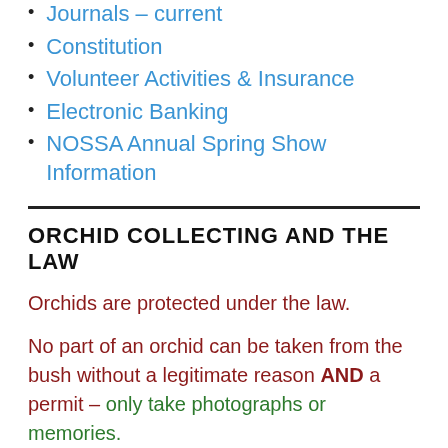Journals – current
Constitution
Volunteer Activities & Insurance
Electronic Banking
NOSSA Annual Spring Show Information
ORCHID COLLECTING AND THE LAW
Orchids are protected under the law.
No part of an orchid can be taken from the bush without a legitimate reason AND a permit – only take photographs or memories.
To report any suspected removal of orchids, contact Investigation and Compliance Unit